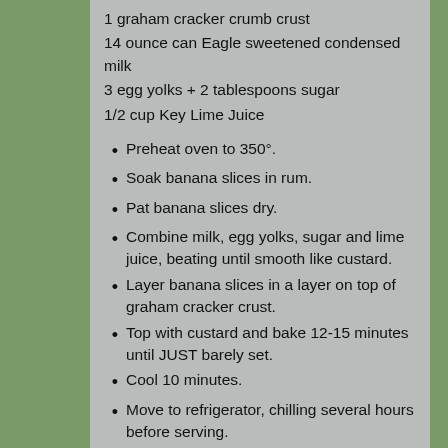1 graham cracker crumb crust
14 ounce can Eagle sweetened condensed milk
3 egg yolks + 2 tablespoons sugar
1/2 cup Key Lime Juice
Preheat oven to 350°.
Soak banana slices in rum.
Pat banana slices dry.
Combine milk, egg yolks, sugar and lime juice, beating until smooth like custard.
Layer banana slices in a layer on top of graham cracker crust.
Top with custard and bake 12-15 minutes until JUST barely set.
Cool 10 minutes.
Move to refrigerator, chilling several hours before serving.
Top with whipped cream.